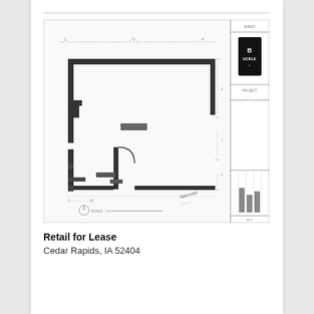[Figure (schematic): Architectural floor plan / engineering drawing of a retail space. Shows a rectangular floor plan outline with thick walls, interior partitions, door openings, and dimension lines. A title block panel is on the right side with a company logo (Buckle or similar) and project/sheet information boxes. Dimension annotations and a north arrow/scale indicator are visible at the bottom. The drawing is blurred/low resolution.]
Retail for Lease
Cedar Rapids, IA 52404